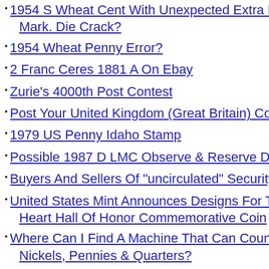1954 S Wheat Cent With Unexpected Extra Mark. Die Crack?
1954 Wheat Penny Error?
2 Franc Ceres 1881 A On Ebay
Zurie's 4000th Post Contest
Post Your United Kingdom (Great Britain) Coin A...
1979 US Penny Idaho Stamp
Possible 1987 D LMC Observe & Reserve Doub...
Buyers And Sellers Of "uncirculated" Security R...
United States Mint Announces Designs For The Heart Hall Of Honor Commemorative Coin
Where Can I Find A Machine That Can Count A Nickels, Pennies & Quarters?